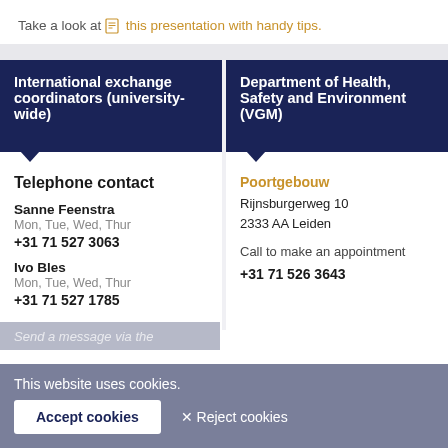Take a look at 📄 this presentation with handy tips.
International exchange coordinators (university-wide)
Department of Health, Safety and Environment (VGM)
Telephone contact
Sanne Feenstra
Mon, Tue, Wed, Thur
+31 71 527 3063
Ivo Bles
Mon, Tue, Wed, Thur
+31 71 527 1785
Poortgebouw
Rijnsburgerweg 10
2333 AA Leiden

Call to make an appointment
+31 71 526 3643
This website uses cookies.
Accept cookies
✕ Reject cookies